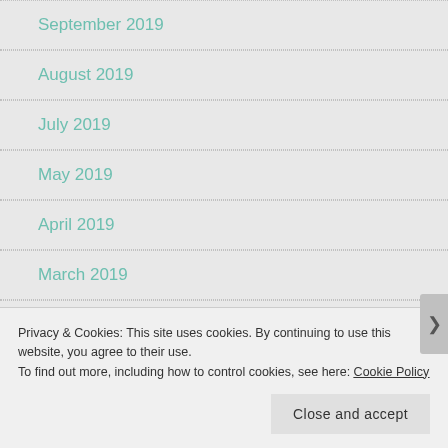September 2019
August 2019
July 2019
May 2019
April 2019
March 2019
February 2019
Privacy & Cookies: This site uses cookies. By continuing to use this website, you agree to their use.
To find out more, including how to control cookies, see here: Cookie Policy
Close and accept